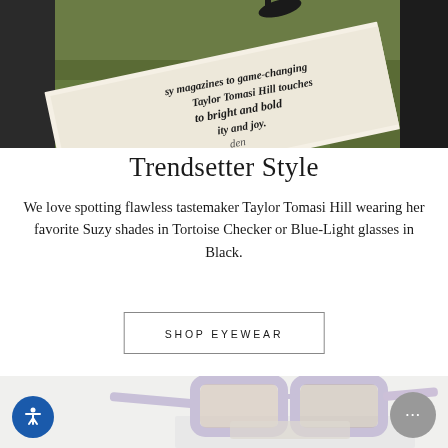[Figure (photo): Top portion of a lifestyle photo showing sunglasses on green grass next to a magazine with italic text visible]
Trendsetter Style
We love spotting flawless tastemaker Taylor Tomasi Hill wearing her favorite Suzy shades in Tortoise Checker or Blue-Light glasses in Black.
SHOP EYEWEAR
[Figure (photo): Light lavender/white oversized square sunglasses displayed on a white surface, partially cropped at bottom of page]